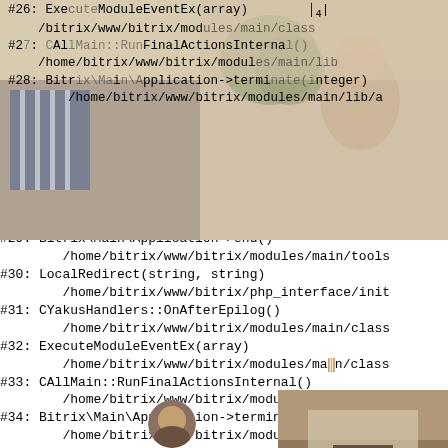[Figure (photo): Interior room photo overlaid on code/stack trace text, top portion of page]
#26: ExecuteModuleEventEx(array)
        /home/bitrix/www/bitrix/modules/main/class
#27: CAllMain::RunFinalActionsInternal()
        /home/bitrix/www/bitrix/modules/main/lib
#28: Bitrix\Main\Application->terminate(integer)
        /home/bitrix/www/bitrix/modules/main/lib/a
#29: Bitrix\Main\Application->end()
        /home/bitrix/www/bitrix/modules/main/tools
#30: LocalRedirect(string, string)
        /home/bitrix/www/bitrix/php_interface/init
#31: CYakusHandlers::OnAfterEpilog()
        /home/bitrix/www/bitrix/modules/main/class
#32: ExecuteModuleEventEx(array)
        /home/bitrix/www/bitrix/modules/main/class
#33: CAllMain::RunFinalActionsInternal()
        /home/bitrix/www/bitrix/modules/main/lib/a
#34: Bitrix\Main\Application->terminate(integer)
        /home/bitrix/www/bitrix/modules/main/lib/a
#35: Bitrix\Main\Application->end()
        /home/bitrix/www/bitrix/modules/main/tools
#36: LocalRedirect(string, string)
        /home/bitrix/www/bitrix/php_interface/init
[Figure (photo): Small interior room photo, bottom right corner]
[Figure (photo): Small circular photo, bottom center-left]